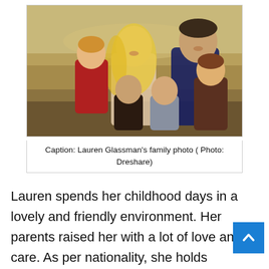[Figure (photo): Family photo of Lauren Glassman with her husband and four young children, outdoors in a field setting.]
Caption: Lauren Glassman's family photo ( Photo: Dreshare)
Lauren spends her childhood days in a lovely and friendly environment. Her parents raised her with a lot of love and care. As per nationality, she holds American citizenship a belongs to white ethnic background.